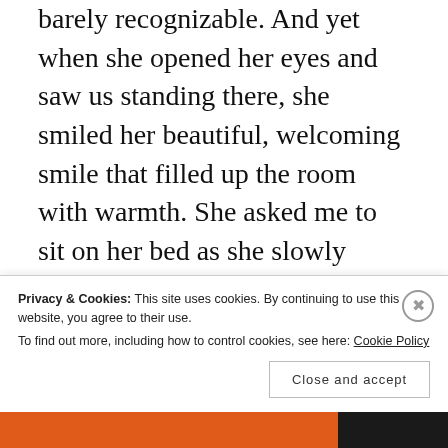barely recognizable. And yet when she opened her eyes and saw us standing there, she smiled her beautiful, welcoming smile that filled up the room with warmth. She asked me to sit on her bed as she slowly shifted sideways to make room for me. I sat down, she held my hand and said, “It is cold, let me warm it up for you.” Typical Mary! Gracious, warm-hearted and loving as ever, always looking
Privacy & Cookies: This site uses cookies. By continuing to use this website, you agree to their use.
To find out more, including how to control cookies, see here: Cookie Policy
Close and accept